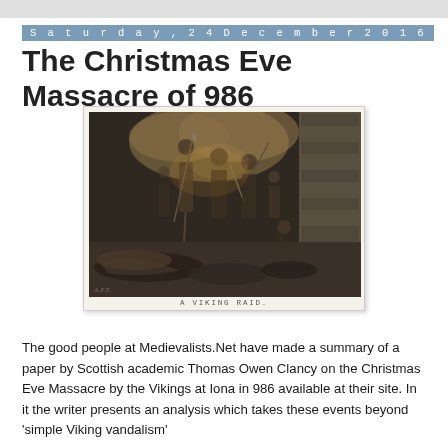Saturday, 24 December 2016
The Christmas Eve Massacre of 986
[Figure (illustration): A black and white engraving titled 'A VIKING RAID' depicting a violent Viking raid scene with warriors attacking, figures fallen on the ground, and a stone building in the background.]
A VIKING RAID
The good people at Medievalists.Net have made a summary of a paper by Scottish academic Thomas Owen Clancy on the Christmas Eve Massacre by the Vikings at Iona in 986 available at their site. In it the writer presents an analysis which takes these events beyond 'simple Viking vandalism'